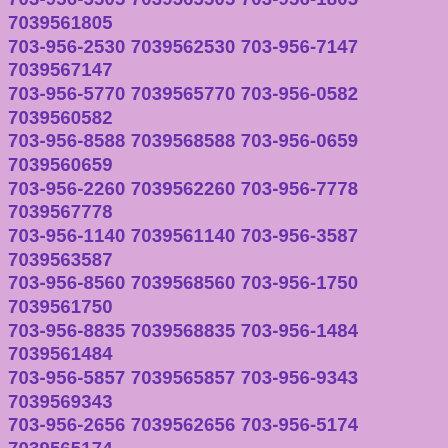703-956-3922 7039563922 703-956-1586 7039561586 703-956-4842 7039564842 703-956-5087 7039565087 703-956-3378 7039563378 703-956-6402 7039566402 703-956-3046 7039563046 703-956-8269 7039568269 703-956-0001 7039560001 703-956-1551 7039561551 703-956-5505 7039565505 703-956-1805 7039561805 703-956-2530 7039562530 703-956-7147 7039567147 703-956-5770 7039565770 703-956-0582 7039560582 703-956-8588 7039568588 703-956-0659 7039560659 703-956-2260 7039562260 703-956-7778 7039567778 703-956-1140 7039561140 703-956-3587 7039563587 703-956-8560 7039568560 703-956-1750 7039561750 703-956-8835 7039568835 703-956-1484 7039561484 703-956-5857 7039565857 703-956-9343 7039569343 703-956-2656 7039562656 703-956-5174 7039565174 703-956-1650 7039561650 703-956-6580 7039566580 703-956-8988 7039568988 703-956-7492 7039567492 703-956-2153 7039562153 703-956-4134 7039564134 703-956-8261 7039568261 703-956-0938 7039560938 703-956-2871 7039562871 703-956-8693 7039568693